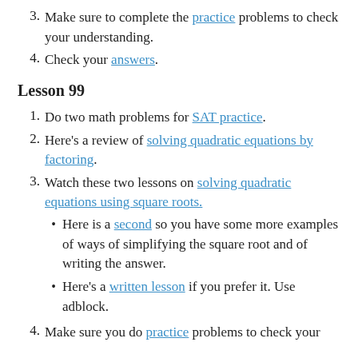3. Make sure to complete the practice problems to check your understanding.
4. Check your answers.
Lesson 99
1. Do two math problems for SAT practice.
2. Here’s a review of solving quadratic equations by factoring.
3. Watch these two lessons on solving quadratic equations using square roots.
• Here is a second so you have some more examples of ways of simplifying the square root and of writing the answer.
• Here’s a written lesson if you prefer it. Use adblock.
4. Make sure you do practice problems to check your...